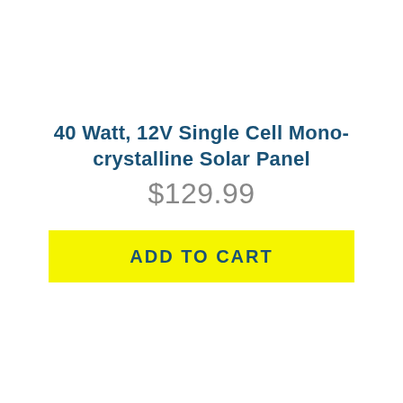40 Watt, 12V Single Cell Mono-crystalline Solar Panel
$129.99
ADD TO CART